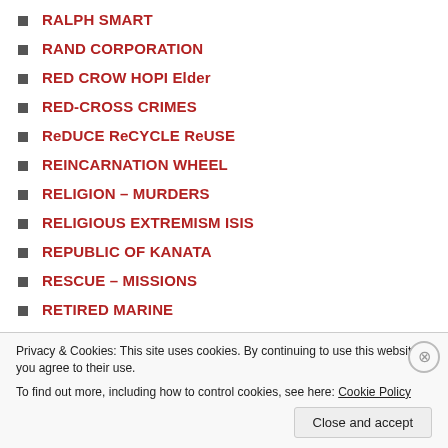RALPH SMART
RAND CORPORATION
RED CROW HOPI Elder
RED-CROSS CRIMES
ReDUCE ReCYCLE ReUSE
REINCARNATION WHEEL
RELIGION – MURDERS
RELIGIOUS EXTREMISM ISIS
REPUBLIC OF KANATA
RESCUE – MISSIONS
RETIRED MARINE
REVERSE SPEECH [demonic]
RHAM EMANUEL
RINUS VERHAGEN
ROB POTTER
ROBERT DAVID STEELE
ROBERT MUELLER Framer
ROCKEFELLER BANKSTERS
Privacy & Cookies: This site uses cookies. By continuing to use this website, you agree to their use.
To find out more, including how to control cookies, see here: Cookie Policy
Close and accept